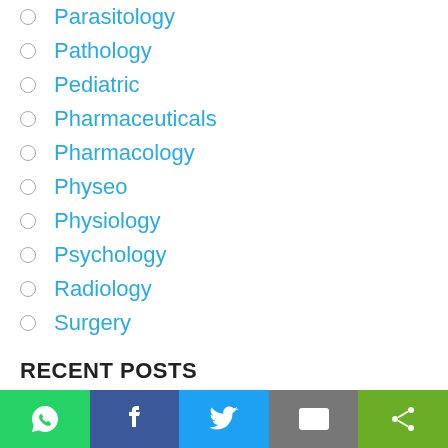Parasitology
Pathology
Pediatric
Pharmaceuticals
Pharmacology
Physeo
Physiology
Psychology
Radiology
Surgery
RECENT POSTS
Harper's Illustrated Biochemistry (26th Ed.) Free PDF Dwonload